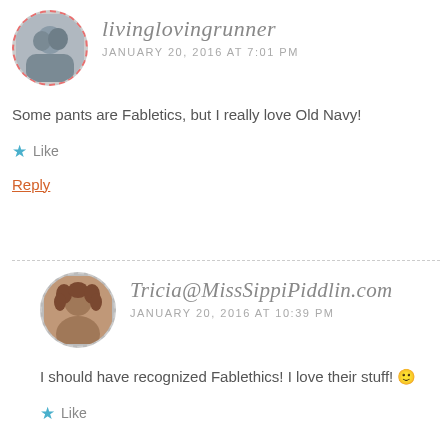livinglovingrunner
JANUARY 20, 2016 AT 7:01 PM
Some pants are Fabletics, but I really love Old Navy!
Like
Reply
Tricia@MissSippiPiddlin.com
JANUARY 20, 2016 AT 10:39 PM
I should have recognized Fablethics! I love their stuff! 🙂
Like